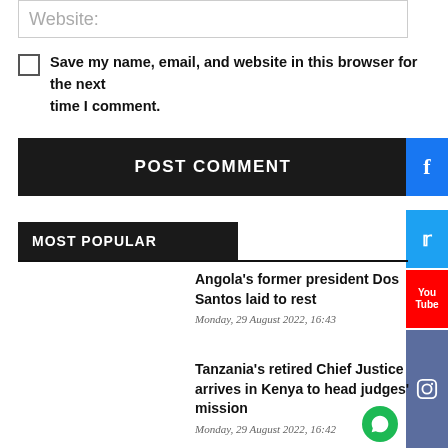Website:
Save my name, email, and website in this browser for the next time I comment.
POST COMMENT
MOST POPULAR
Angola's former president Dos Santos laid to rest
Monday, 29 August 2022, 16:43
Tanzania's retired Chief Justice arrives in Kenya to head judges' mission
Monday, 29 August 2022, 16:42